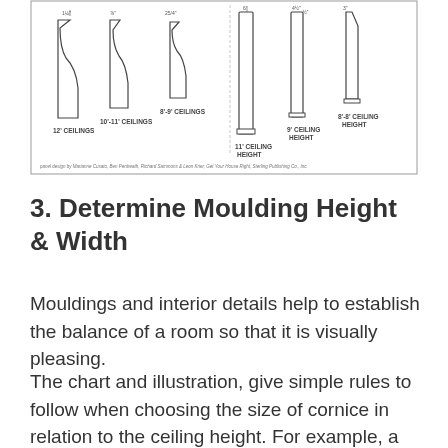[Figure (illustration): Technical illustration showing moulding profiles for different ceiling heights: 12' ceilings, 10'-11' ceilings, 8'-9' ceilings, 11' ceiling height, 9' ceiling height, 8'-8' ceiling height. Each profile is shown as a cross-section silhouette with dimension annotations. Credit line at bottom: 'panel design by Marianne Cusato, Ben Pentreath, Richard Sammons & Leon Krier, Get Your House Right, Sterling Publishing Co., Inc.']
3. Determine Moulding Height & Width
Mouldings and interior details help to establish the balance of a room so that it is visually pleasing.
The chart and illustration, give simple rules to follow when choosing the size of cornice in relation to the ceiling height. For example, a high-style